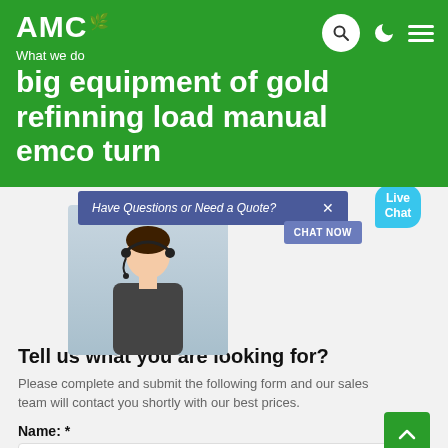AMC
What we do
big equipment of gold refinning load manual emco turn
[Figure (screenshot): Live chat popup with agent photo, 'Have Questions or Need a Quote?' banner in dark blue, and 'CHAT NOW' button. Live Chat bubble in cyan top right.]
Tell us what you are looking for?
Please complete and submit the following form and our sales team will contact you shortly with our best prices.
Name: *
As: Tom
Email: *
As: vip@shanghaimeilan.com
Phone: *